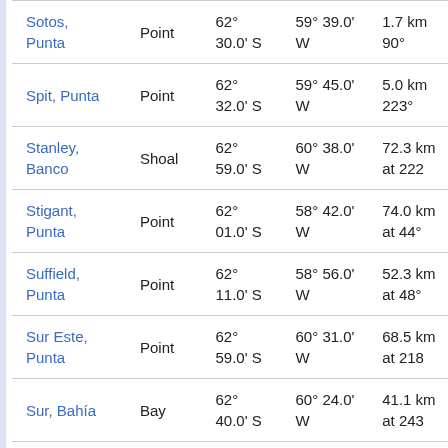| Name | Type | Latitude | Longitude | Distance |
| --- | --- | --- | --- | --- |
| Sotos, Punta | Point | 62° 30.0' S | 59° 39.0' W | 1.7 km 90° |
| Spit, Punta | Point | 62° 32.0' S | 59° 45.0' W | 5.0 km 223° |
| Stanley, Banco | Shoal | 62° 59.0' S | 60° 38.0' W | 72.3 km at 222 |
| Stigant, Punta | Point | 62° 01.0' S | 58° 42.0' W | 74.0 km at 44° |
| Suffield, Punta | Point | 62° 11.0' S | 58° 56.0' W | 52.3 km at 48° |
| Sur Este, Punta | Point | 62° 59.0' S | 60° 31.0' W | 68.5 km at 218 |
| Sur, Bahía | Bay | 62° 40.0' S | 60° 24.0' W | 41.1 km at 243 |
| Sur, Punta | Point | 63° 01.0' S | 60° 37.0' W | 74.5 km at 21° |